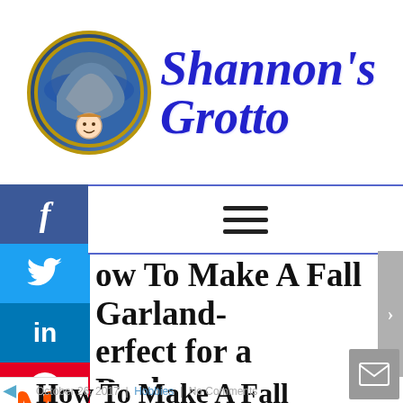[Figure (logo): Shannon's Grotto blog logo: circular emblem with illustration on left, cursive blue text 'Shannon's Grotto' on right]
[Figure (infographic): Social media share sidebar with Facebook, Twitter, LinkedIn, Pinterest, Reddit, Mix buttons]
[Figure (other): Hamburger menu icon (three horizontal lines)]
How To Make A Fall Garland- Perfect for a Bookcase
[Figure (other): Mix (StumbleUpon) orange logo icon]
How To Make A Fall Garland- Perfect for a Bookcase
October 26, 2017  |  Hobbies  |  No Comments